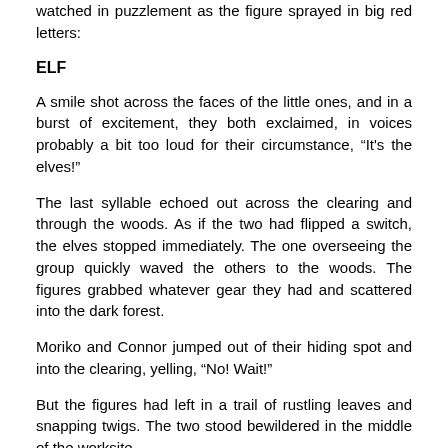watched in puzzlement as the figure sprayed in big red letters:
ELF
A smile shot across the faces of the little ones, and in a burst of excitement, they both exclaimed, in voices probably a bit too loud for their circumstance, “It's the elves!”
The last syllable echoed out across the clearing and through the woods. As if the two had flipped a switch, the elves stopped immediately. The one overseeing the group quickly waved the others to the woods. The figures grabbed whatever gear they had and scattered into the dark forest.
Moriko and Connor jumped out of their hiding spot and into the clearing, yelling, “No! Wait!”
But the figures had left in a trail of rustling leaves and snapping twigs. The two stood bewildered in the middle of the worksite.
2
The next day, the two little ones snuck through the woods to look over the worksite. The big yellow machine was moving across the clearing by the time they had arrived. It had taken the workers half